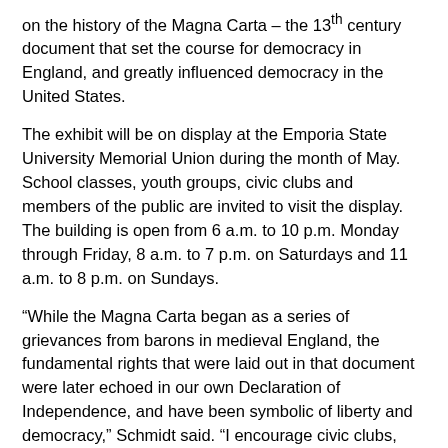on the history of the Magna Carta – the 13th century document that set the course for democracy in England, and greatly influenced democracy in the United States.
The exhibit will be on display at the Emporia State University Memorial Union during the month of May. School classes, youth groups, civic clubs and members of the public are invited to visit the display. The building is open from 6 a.m. to 10 p.m. Monday through Friday, 8 a.m. to 7 p.m. on Saturdays and 11 a.m. to 8 p.m. on Sundays.
“While the Magna Carta began as a series of grievances from barons in medieval England, the fundamental rights that were laid out in that document were later echoed in our own Declaration of Independence, and have been symbolic of liberty and democracy,” Schmidt said. “I encourage civic clubs, educators and other interested citizens to use this opportunity to discuss our civic history and to engage in learning about the precious system of self-government we have inherited from those who came before.”
The Magna Carta has also had great influence on the development of American laws.